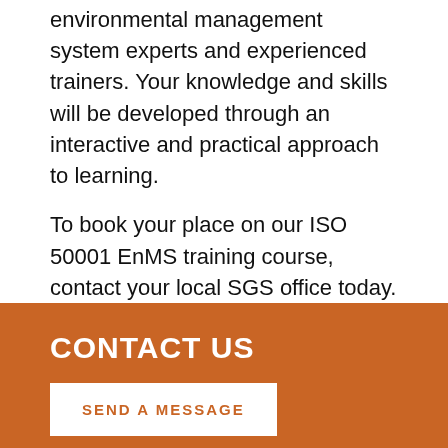environmental management system experts and experienced trainers. Your knowledge and skills will be developed through an interactive and practical approach to learning.
To book your place on our ISO 50001 EnMS training course, contact your local SGS office today.
CONTACT US
SEND A MESSAGE
SGS OFFICES & LABS
MORE LOCATIONS